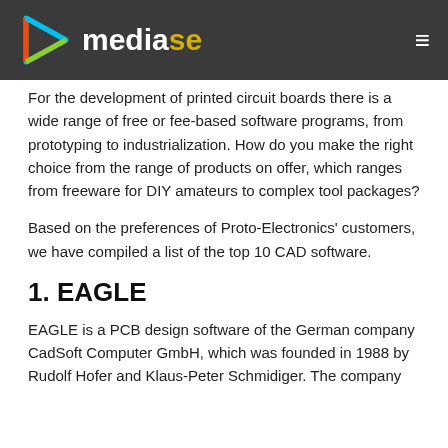mediaseed
For the development of printed circuit boards there is a wide range of free or fee-based software programs, from prototyping to industrialization. How do you make the right choice from the range of products on offer, which ranges from freeware for DIY amateurs to complex tool packages?
Based on the preferences of Proto-Electronics' customers, we have compiled a list of the top 10 CAD software.
1. EAGLE
EAGLE is a PCB design software of the German company CadSoft Computer GmbH, which was founded in 1988 by Rudolf Hofer and Klaus-Peter Schmidiger. The company